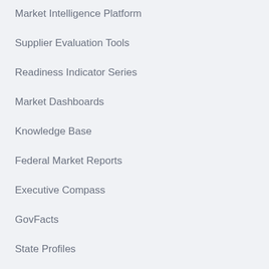Market Intelligence Platform
Supplier Evaluation Tools
Readiness Indicator Series
Market Dashboards
Knowledge Base
Federal Market Reports
Executive Compass
GovFacts
State Profiles